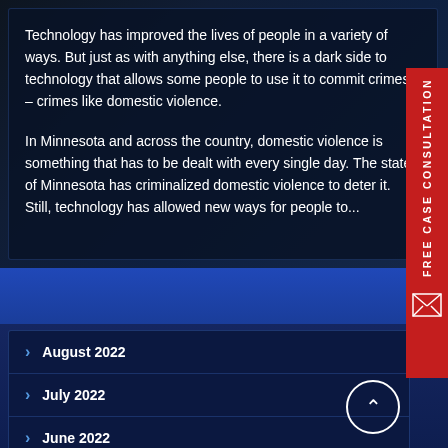Technology has improved the lives of people in a variety of ways. But just as with anything else, there is a dark side to technology that allows some people to use it to commit crimes – crimes like domestic violence.
In Minnesota and across the country, domestic violence is something that has to be dealt with every single day. The state of Minnesota has criminalized domestic violence to deter it. Still, technology has allowed new ways for people to...
ARCHIVES
August 2022
July 2022
June 2022